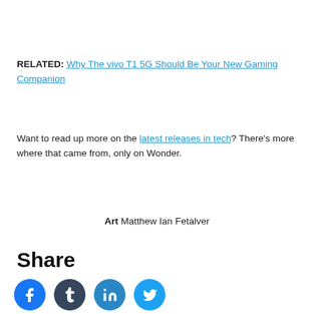RELATED: Why The vivo T1 5G Should Be Your New Gaming Companion
Want to read up more on the latest releases in tech? There's more where that came from, only on Wonder.
Art Matthew Ian Fetalver
Share
[Figure (other): Social media share icons: Facebook, Tumblr, LinkedIn, Twitter]